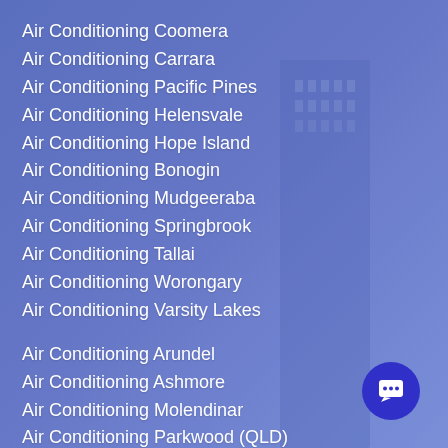Air Conditioning Coomera
Air Conditioning Carrara
Air Conditioning Pacific Pines
Air Conditioning Helensvale
Air Conditioning Hope Island
Air Conditioning Bonogin
Air Conditioning Mudgeeraba
Air Conditioning Springbrook
Air Conditioning Tallai
Air Conditioning Worongary
Air Conditioning Varsity Lakes
Air Conditioning Arundel
Air Conditioning Ashmore
Air Conditioning Molendinar
Air Conditioning Parkwood (QLD)
Air Conditioning Labrador
Air Conditioning Southport (QLD)